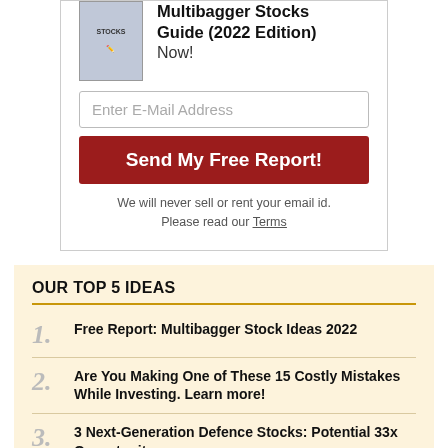[Figure (illustration): Book cover image showing 'STOCKS' text with a person writing]
Multibagger Stocks Guide (2022 Edition) Now!
Enter E-Mail Address
Send My Free Report!
We will never sell or rent your email id. Please read our Terms
OUR TOP 5 IDEAS
1. Free Report: Multibagger Stock Ideas 2022
2. Are You Making One of These 15 Costly Mistakes While Investing. Learn more!
3. 3 Next-Generation Defence Stocks: Potential 33x Opportunity
4. The Biggest Announcement Ever at Equitymaster